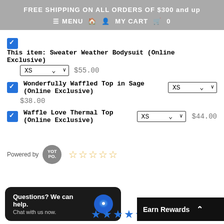FREE SHIPPING ON ALL ORDERS OF $300 and up
≡ MENU  🏠  👤  MY CART  🛍  0
☑ This item: Sweater Weather Bodysuit (Online Exclusive)
XS ∨  $55.00
☑ Wonderfully Waffled Top in Sage (Online Exclusive)  XS ∨  $38.00
☑ Waffle Love Thermal Top (Online Exclusive)  XS ∨  $44.00
Powered by  YOTPO.  ☆☆☆☆☆
Questions? We can help. Chat with us now.
Earn Rewards